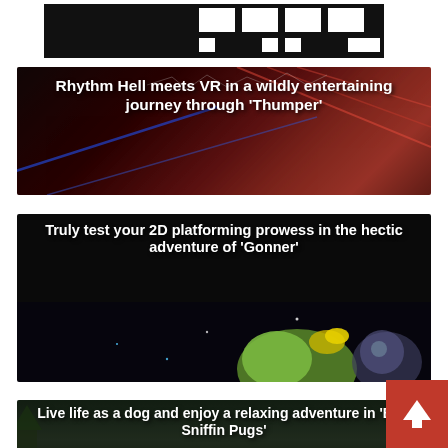[Figure (logo): Website logo bar with black and white rectangular shapes forming a logo]
[Figure (illustration): Article card: Rhythm Hell meets VR in a wildly entertaining journey through 'Thumper' — dark red/black background with diagonal laser lines]
[Figure (illustration): Article card: Truly test your 2D platforming prowess in the hectic adventure of 'Gonner' — dark background with game character illustration]
[Figure (illustration): Article card: Live life as a dog and enjoy a relaxing adventure in 'Butt Sniffin Pugs' — dark green/forest background]